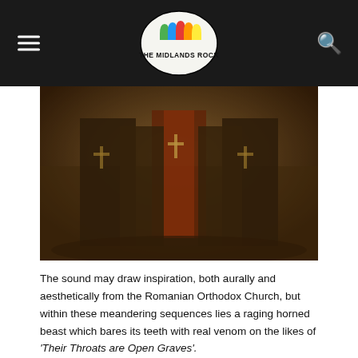The Midlands Rocks
[Figure (photo): Band members dressed in Romanian Orthodox Church-inspired dark robes with ornate cross embroidery, posed in front of stone ruins. Sepia-toned photograph.]
The sound may draw inspiration, both aurally and aesthetically from the Romanian Orthodox Church, but within these meandering sequences lies a raging horned beast which bares its teeth with real venom on the likes of ‘Their Throats are Open Graves’.
Guest vocalists Laura Delogu and Janina Kiessling offer